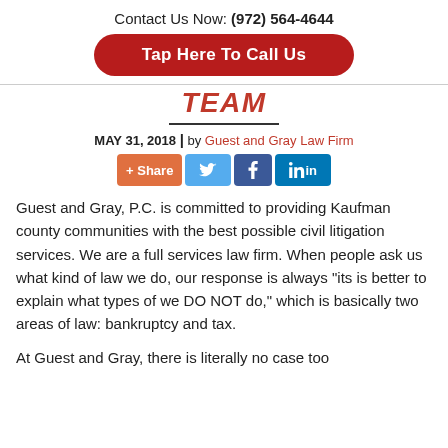Contact Us Now: (972) 564-4644
Tap Here To Call Us
TEAM
MAY 31, 2018 | by Guest and Gray Law Firm
[Figure (other): Social sharing buttons: +Share, Twitter, Facebook, LinkedIn]
Guest and Gray, P.C. is committed to providing Kaufman county communities with the best possible civil litigation services. We are a full services law firm. When people ask us what kind of law we do, our response is always “its is better to explain what types of we DO NOT do,” which is basically two areas of law: bankruptcy and tax.
At Guest and Gray, there is literally no case too